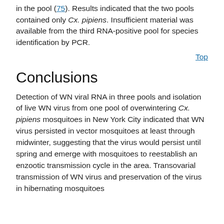in the pool (75). Results indicated that the two pools contained only Cx. pipiens. Insufficient material was available from the third RNA-positive pool for species identification by PCR.
Top
Conclusions
Detection of WN viral RNA in three pools and isolation of live WN virus from one pool of overwintering Cx. pipiens mosquitoes in New York City indicated that WN virus persisted in vector mosquitoes at least through midwinter, suggesting that the virus would persist until spring and emerge with mosquitoes to reestablish an enzootic transmission cycle in the area. Transovarial transmission of WN virus and preservation of the virus in hibernating mosquitoes